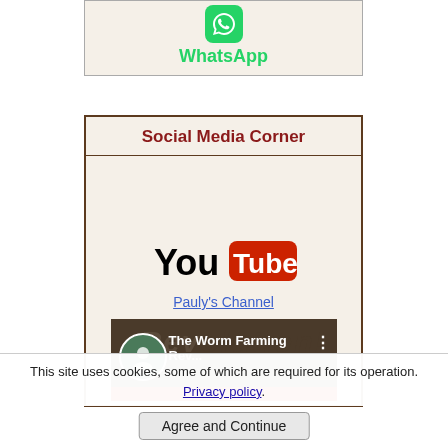[Figure (logo): WhatsApp green rounded square icon with phone symbol]
WhatsApp
Social Media Corner
[Figure (logo): YouTube logo with red play button rectangle and white 'You' text in black, 'Tube' in white on red]
Pauly's Channel
[Figure (screenshot): Video thumbnail showing 'The Worm Farming Rev...' with avatar and red bar]
This site uses cookies, some of which are required for its operation. Privacy policy.
Agree and Continue